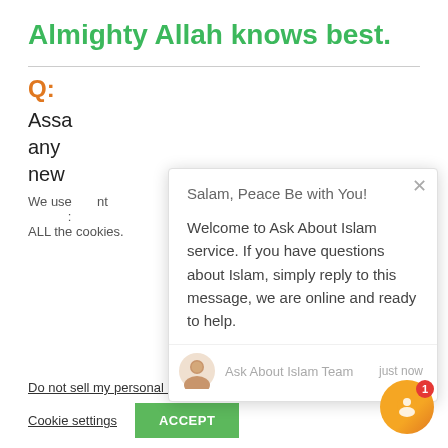Almighty Allah knows best.
Q:
Assa any new
We use ...nt ...ALL the cookies.
Do not sell my personal information.
Cookie settings   ACCEPT
[Figure (screenshot): Chat popup overlay with greeting 'Salam, Peace Be with You!' and message 'Welcome to Ask About Islam service. If you have questions about Islam, simply reply to this message, we are online and ready to help.' from Ask About Islam Team, just now. Includes avatar, close button, and orange chat icon with red badge showing 1.]